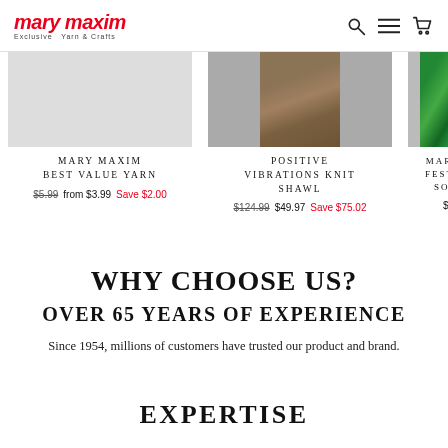mary maxim — Exclusive Yarn & Crafts
MARY MAXIM BEST VALUE YARN — $5.99 from $3.99 Save $2.00
POSITIVE VIBRATIONS KNIT SHAWL — $124.99 $49.97 Save $75.02
MARY M FESTIVE SOCK — $9.
WHY CHOOSE US?
OVER 65 YEARS OF EXPERIENCE
Since 1954, millions of customers have trusted our product and brand.
EXPERTISE